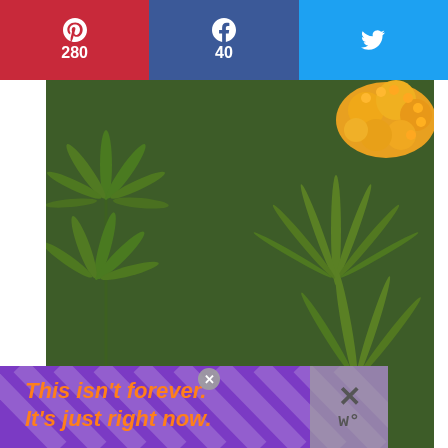[Figure (infographic): Social share bar with Pinterest (280), Facebook (40), Twitter icons]
[Figure (photo): Garden photo showing green leafy plants (possibly lupines and butterfly weed) with orange flowers in upper right, shot from above, with mulch visible at bottom]
[Figure (infographic): WHAT'S NEXT overlay with thumbnail and text 'Kid Approved Hot Lunch...']
[Figure (infographic): Advertisement banner: purple background with diagonal stripes and orange italic text 'This isn't forever. It's just right now.' with close X button]